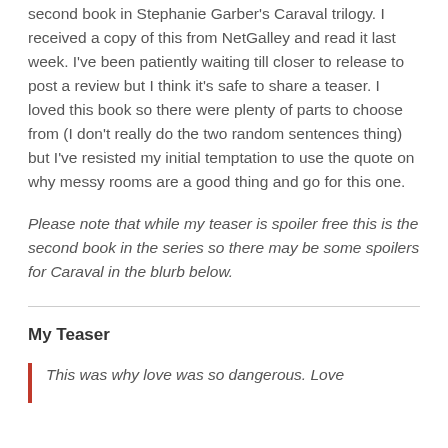second book in Stephanie Garber's Caraval trilogy. I received a copy of this from NetGalley and read it last week. I've been patiently waiting till closer to release to post a review but I think it's safe to share a teaser. I loved this book so there were plenty of parts to choose from (I don't really do the two random sentences thing) but I've resisted my initial temptation to use the quote on why messy rooms are a good thing and go for this one.
Please note that while my teaser is spoiler free this is the second book in the series so there may be some spoilers for Caraval in the blurb below.
My Teaser
This was why love was so dangerous. Love